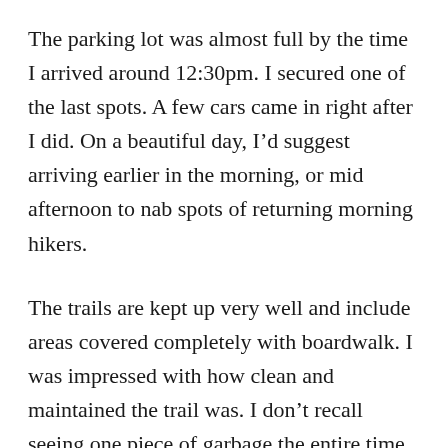The parking lot was almost full by the time I arrived around 12:30pm. I secured one of the last spots. A few cars came in right after I did. On a beautiful day, I’d suggest arriving earlier in the morning, or mid afternoon to nab spots of returning morning hikers.
The trails are kept up very well and include areas covered completely with boardwalk. I was impressed with how clean and maintained the trail was. I don’t recall seeing one piece of garbage the entire time. I love seeing how respectful people are of our parks!